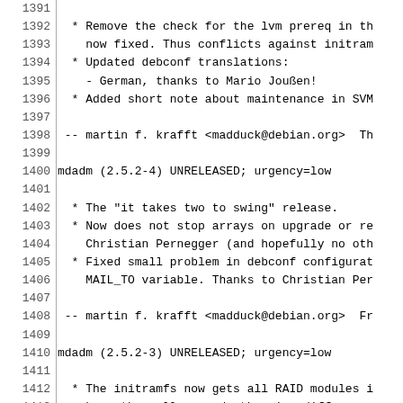Lines 1391-1420 of a Debian changelog file for mdadm package, showing version entries 2.5.2-4 UNRELEASED and 2.5.2-3 UNRELEASED with urgency=low, listing bug fixes and changes by martin f. krafft <madduck@debian.org>.